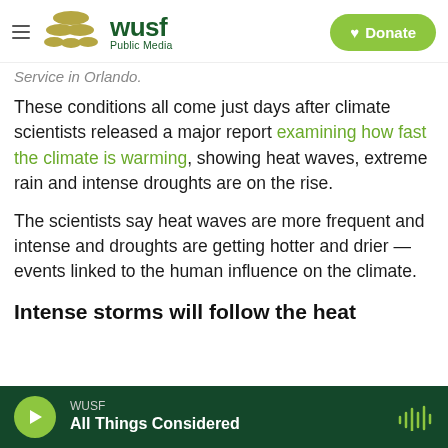WUSF Public Media | Donate
Service in Orlando.
These conditions all come just days after climate scientists released a major report examining how fast the climate is warming, showing heat waves, extreme rain and intense droughts are on the rise.
The scientists say heat waves are more frequent and intense and droughts are getting hotter and drier — events linked to the human influence on the climate.
Intense storms will follow the heat
WUSF | All Things Considered